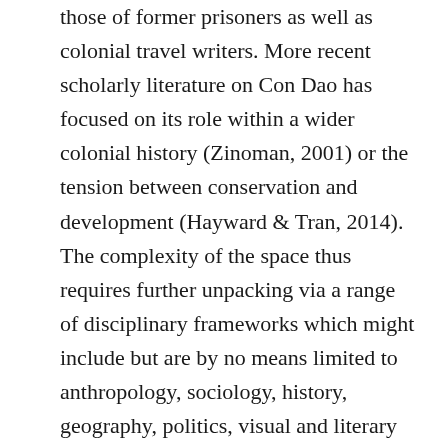those of former prisoners as well as colonial travel writers. More recent scholarly literature on Con Dao has focused on its role within a wider colonial history (Zinoman, 2001) or the tension between conservation and development (Hayward & Tran, 2014). The complexity of the space thus requires further unpacking via a range of disciplinary frameworks which might include but are by no means limited to anthropology, sociology, history, geography, politics, visual and literary cultural studies. We also invite articles which situate Con Dao within comparative perspectives both geographically, considering other islands and archipelagos located off the coast of Vietnam and Southeast Asia, and historically, exploring its role within wider networks of colonial occupation such as France's use of islands within its system of transportation and deportation. At the same time, articles should consider the significance of engaging